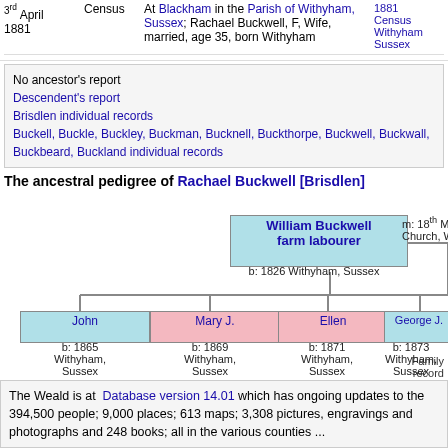| Date | Source | Detail | Reference |
| --- | --- | --- | --- |
| 3rd April 1881 | Census | At Blackham in the Parish of Withyham, Sussex; Rachael Buckwell, F, Wife, married, age 35, born Withyham | 1881 Census Withyham Sussex |
No ancestor's report
Descendent's report
Brisdlen individual records
Buckell, Buckle, Buckley, Buckman, Bucknell, Buckthorpe, Buckwell, Buckwall, Buckbeard, Buckland individual records
The ancestral pedigree of Rachael Buckwell [Brisdlen]
[Figure (other): Ancestral pedigree chart showing William Buckwell farm labourer (b: 1826 Withyham, Sussex), married 18th Mar 1865 Church Withyham, with children: John (b: 1865 Withyham, Sussex), Mary J. (b: 1869 Withyham, Sussex), Ellen (b: 1871 Withyham, Sussex), George J. (b: 1873 Withyham, Sussex)]
The Weald is at Database version 14.01 which has ongoing updates to the 394,500 people; 9,000 places; 613 maps; 3,308 pictures, engravings and photographs and 248 books; all in the various counties ...